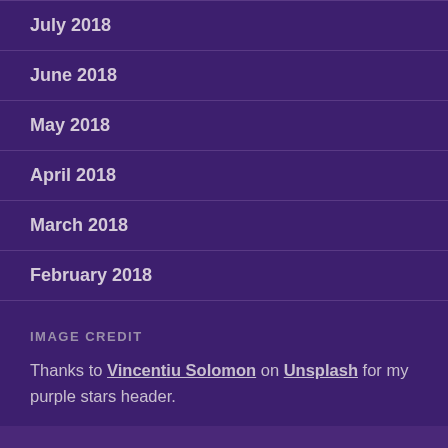July 2018
June 2018
May 2018
April 2018
March 2018
February 2018
IMAGE CREDIT
Thanks to Vincentiu Solomon on Unsplash for my purple stars header.